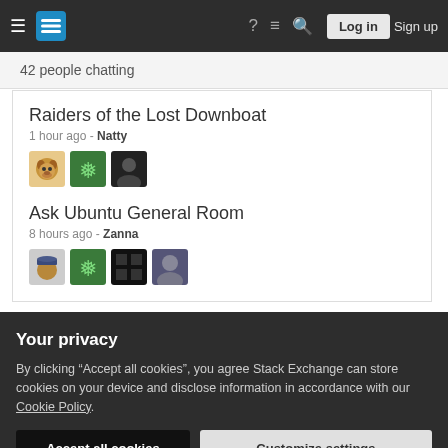Stack Exchange — Log in / Sign up
42 people chatting
Raiders of the Lost Downboat
1 hour ago - Natty
[Figure (illustration): Three user avatars: dog, green snowflake, dark photo]
Ask Ubuntu General Room
8 hours ago - Zanna
[Figure (illustration): Four user avatars: dog with hat, green snowflake, dark, blurry]
Your privacy
By clicking "Accept all cookies", you agree Stack Exchange can store cookies on your device and disclose information in accordance with our Cookie Policy.
Accept all cookies
Customize settings
15  Policy Change Proposal: "End of Standard Support" for ESM